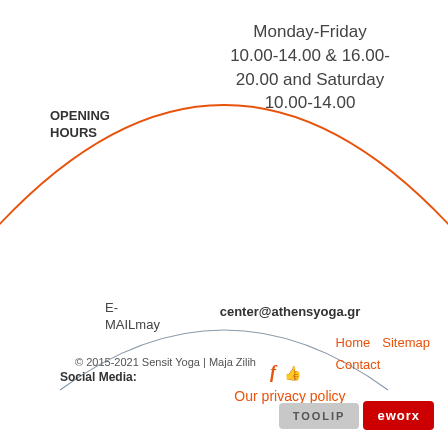OPENING HOURS
Monday-Friday 10.00-14.00 & 16.00-20.00 and Saturday 10.00-14.00
E-MAILmay
center@athensyoga.gr
Social Media:
Our privacy policy
© 2015-2021 Sensit Yoga | Maja Zilih
Home   Sitemap   Contact
[Figure (logo): TOOLIP logo in grey background and eworx logo in red background]